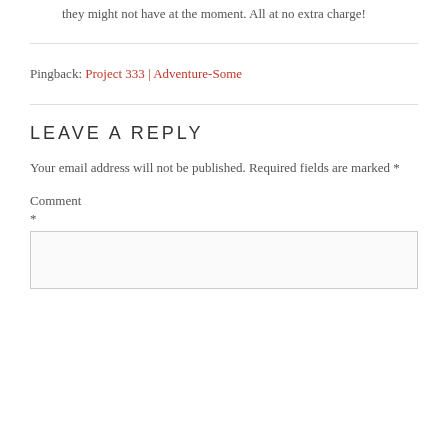they might not have at the moment. All at no extra charge!
Pingback: Project 333 | Adventure-Some
LEAVE A REPLY
Your email address will not be published. Required fields are marked *
Comment
*